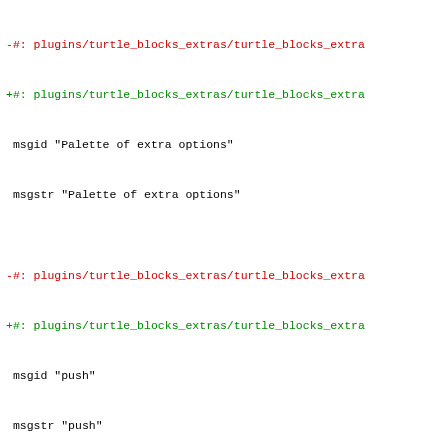-#: plugins/turtle_blocks_extras/turtle_blocks_extra
+#: plugins/turtle_blocks_extras/turtle_blocks_extra
 msgid "Palette of extra options"
 msgstr "Palette of extra options"
-#: plugins/turtle_blocks_extras/turtle_blocks_extra
+#: plugins/turtle_blocks_extras/turtle_blocks_extra
 msgid "push"
 msgstr "push"
-#: plugins/turtle_blocks_extras/turtle_blocks_extra
+#: plugins/turtle_blocks_extras/turtle_blocks_extra
 msgid "pushes value onto FILO (first-in last-out he
 msgstr "pushes value onto FILO (first-in last-out h
-#: plugins/turtle_blocks_extras/turtle_blocks_extra
+#: plugins/turtle_blocks_extras/turtle_blocks_extra
 msgid "show heap"
 msgstr "show heap"
-#: plugins/turtle_blocks_extras/turtle_blocks_extra
+#: plugins/turtle_blocks_extras/turtle_blocks_extra
 msgid "shows values in FILO (first-in last-out heap
 msgstr "shows values in FILO (first-in last-out hea
-#: plugins/turtle_blocks_extras/turtle_blocks_extra
+#: plugins/turtle_blocks_extras/turtle_blocks_extra
 msgid "empty heap"
 msgstr "empty heap"
-#: plugins/turtle_blocks_extras/turtle_blocks_extra